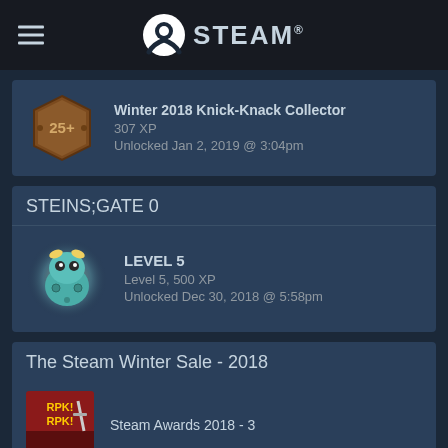STEAM
[Figure (other): Badge: Winter 2018 Knick-Knack Collector, hexagonal brown badge with 25+ text]
Winter 2018 Knick-Knack Collector
307 XP
Unlocked Jan 2, 2019 @ 3:04pm
STEINS;GATE 0
[Figure (other): Badge: Level 5 badge from STEINS;GATE 0, teal creature character with glowing effect]
LEVEL 5
Level 5, 500 XP
Unlocked Dec 30, 2018 @ 5:58pm
The Steam Winter Sale - 2018
Steam Awards 2018 - 3